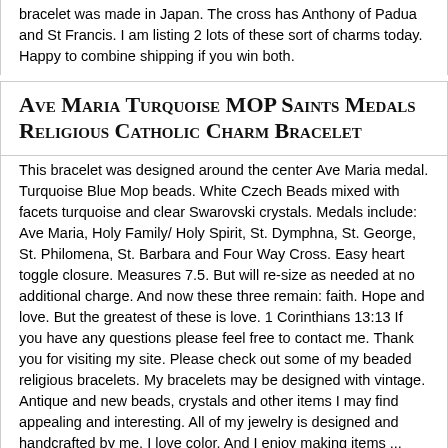bracelet was made in Japan. The cross has Anthony of Padua and St Francis. I am listing 2 lots of these sort of charms today. Happy to combine shipping if you win both.
Ave Maria Turquoise MOP Saints Medals Religious Catholic Charm Bracelet
This bracelet was designed around the center Ave Maria medal. Turquoise Blue Mop beads. White Czech Beads mixed with facets turquoise and clear Swarovski crystals. Medals include: Ave Maria, Holy Family/ Holy Spirit, St. Dymphna, St. George, St. Philomena, St. Barbara and Four Way Cross. Easy heart toggle closure. Measures 7.5. But will re-size as needed at no additional charge. And now these three remain: faith. Hope and love. But the greatest of these is love. 1 Corinthians 13:13 If you have any questions please feel free to contact me. Thank you for visiting my site. Please check out some of my beaded religious bracelets. My bracelets may be designed with vintage. Antique and new beads, crystals and other items I may find appealing and interesting. All of my jewelry is designed and handcrafted by me. I love color. And I enjoy making items ... more
St. Hildegard Von Bingen Saints Medals Religious Catholic Crystal Charm Bracelet
Center St. Hildegard Von Bingen(The Pope stated that to her. all of creation was a symphony of the Holy Spirit, Who is in Himself joy and contentment. I added fushia rhinestones to the St. Von Bingen medal and combined blue druzy beads with blue sandstone beads that really sparkle in the light, fushia tourmaline freeform gemstones and faceted